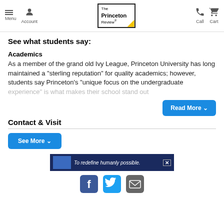The Princeton Review - Menu, Account, Call, Cart
See what students say:
Academics
As a member of the grand old Ivy League, Princeton University has long maintained a "sterling reputation" for quality academics; however, students say Princeton's "unique focus on the undergraduate experience" is what makes their school stand out.
Contact & Visit
[Figure (screenshot): Advertisement banner: 'To redefine humanly possible.' on dark blue background with close button]
[Figure (infographic): Social media icons: Facebook, Twitter, Email]